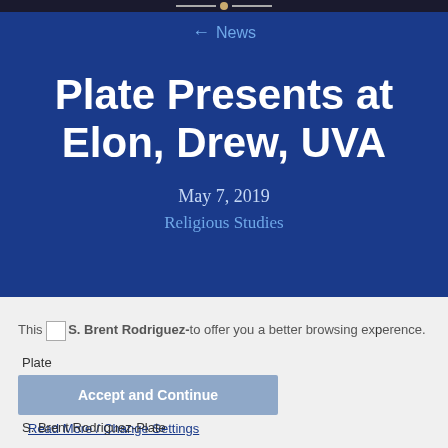← News
Plate Presents at Elon, Drew, UVA
May 7, 2019
Religious Studies
This site uses cookies to offer you a better browsing experience.
S. Brent Rodriguez-Plate
Accept and Continue
Read More / Change Settings
S. Brent Rodriguez-Plate